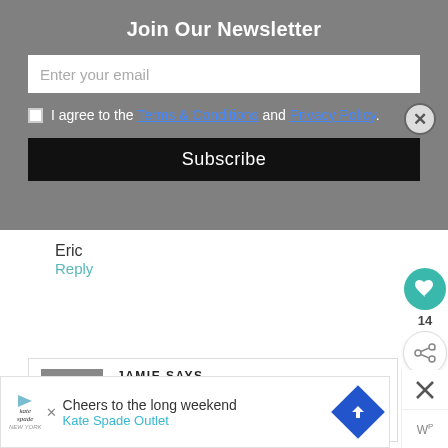Join Our Newsletter
Enter your email
I agree to the Terms & Conditions and Privacy Policy.
Subscribe
Eric
Reply
JAMIE SAYS
at
Cheers to the long weekend Kate Spade Outlet